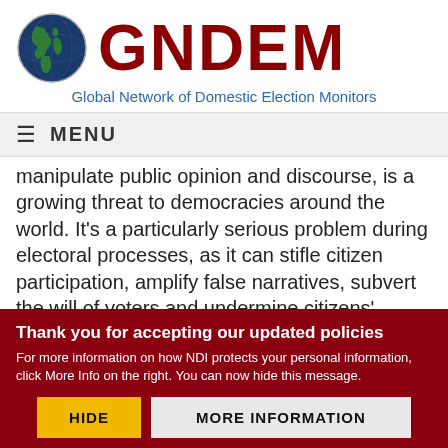[Figure (logo): GNDEM globe and wordmark logo. Globe icon on the left, 'GNDEM' in large dark red bold text on the right.]
Global Network of Domestic Election Monitors
≡ MENU
manipulate public opinion and discourse, is a growing threat to democracies around the world. It's a particularly serious problem during electoral processes, as it can stifle citizen participation, amplify false narratives, subvert the will of voters and undermine citizens' confidence in democratic systems
Thank you for accepting our updated policies
For more information on how NDI protects your personal information, click More Info on the right. You can now hide this message.
HIDE   MORE INFORMATION